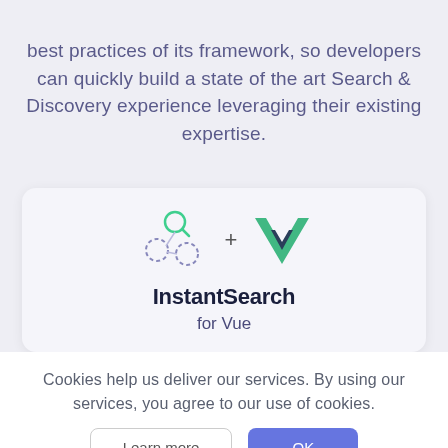best practices of its framework, so developers can quickly build a state of the art Search & Discovery experience leveraging their existing expertise.
[Figure (logo): InstantSearch logo (stylized graph/node icon with dashed circles) plus Vue.js logo (green V chevron)]
InstantSearch
for Vue
Cookies help us deliver our services. By using our services, you agree to our use of cookies.
Learn more   OK